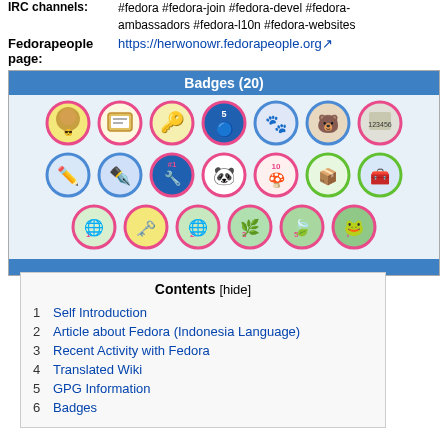IRC channels: #fedora #fedora-join #fedora-devel #fedora-ambassadors #fedora-l10n #fedora-websites
Fedorapeople page: https://herwonowr.fedorapeople.org
[Figure (other): Badges (20) - grid of 20 Fedora badge icons in three rows]
| Contents [hide] |
| --- |
| 1 Self Introduction |
| 2 Article about Fedora (Indonesia Language) |
| 3 Recent Activity with Fedora |
| 4 Translated Wiki |
| 5 GPG Information |
| 6 Badges |